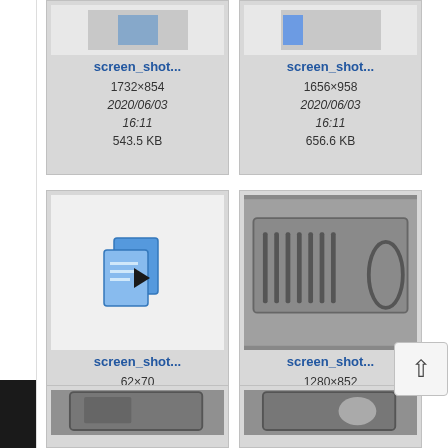[Figure (screenshot): File card 1: screen_shot... thumbnail (partially visible at top), 1732×854, 2020/06/03 16:11, 543.5 KB]
[Figure (screenshot): File card 2: screen_shot... thumbnail (partially visible at top), 1656×958, 2020/06/03 16:11, 656.6 KB]
[Figure (screenshot): File card 3: screen_shot... blue document copy icon thumbnail, 62×70, 2020/06/03 16:11, 7.5 KB]
[Figure (screenshot): File card 4: screen_shot... photo of medical instruments tray, 1280×852, 2020/06/03 16:11, 1.5 MB]
[Figure (screenshot): File card 5: partially visible at bottom, photo of medical device]
[Figure (screenshot): File card 6: partially visible at bottom, photo of medical device]